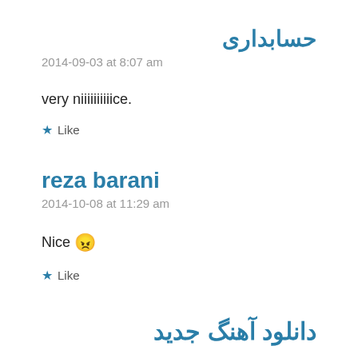حسابداری
2014-09-03 at 8:07 am
very niiiiiiiiiice.
★ Like
reza barani
2014-10-08 at 11:29 am
Nice 😠
★ Like
دانلود آهنگ جدید